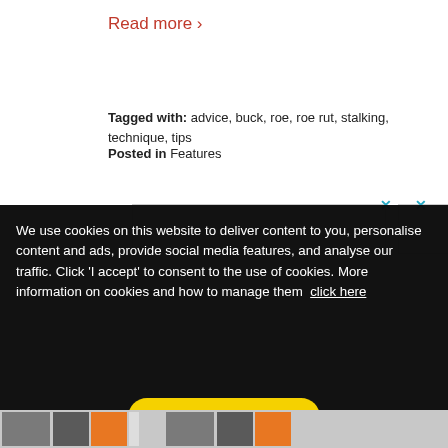Read more ›
Tagged with: advice, buck, roe, roe rut, stalking, technique, tips
Posted in Features
We use cookies on this website to deliver content to you, personalise content and ads, provide social media features, and analyse our traffic. Click 'I accept' to consent to the use of cookies. More information on cookies and how to manage them click here
I Accept